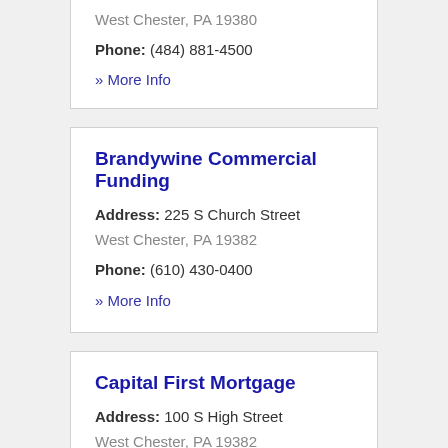West Chester, PA 19380
Phone: (484) 881-4500
» More Info
Brandywine Commercial Funding
Address: 225 S Church Street
West Chester, PA 19382
Phone: (610) 430-0400
» More Info
Capital First Mortgage
Address: 100 S High Street
West Chester, PA 19382
Phone: (610) 429-8149